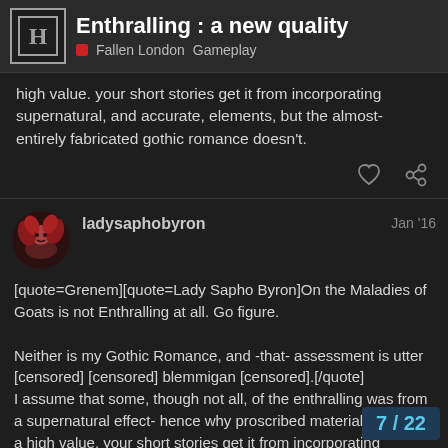Enthralling : a new quality | Fallen London  Gameplay
high value. your short stories get it from incorporating supernatural, and accurate, elements, but the almost-entirely fabricated gothic romance doesn't.
ladysaphobyron  Jan '16
[quote=Grenem][quote=Lady Sapho Byron]On the Maladies of Goats is not Enthralling at all. Go figure.

Neither is my Gothic Romance, and -that- assessment is utter [censored] [censored] blemmigan [censored].[/quote]
I assume that some, though not all, of the enthralling was from a supernatural effect- hence why proscribed material has such a high value. your short stories get it from incorporating supernatural, and accurate, elements, but fabricated gothic romance doesn't.[/quote]
7 / 22